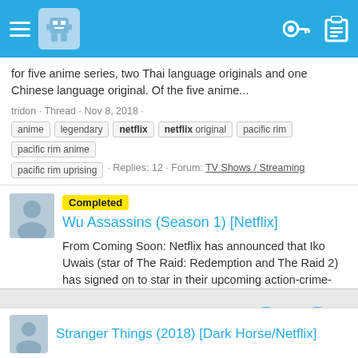Navigation bar with menu, avatar, key icon, clipboard icon
for five anime series, two Thai language originals and one Chinese language original. Of the five anime...
tridon · Thread · Nov 8, 2018 · anime · legendary · netflix · netflix original · pacific rim · pacific rim anime · pacific rim uprising · Replies: 12 · Forum: TV Shows / Streaming
Completed Wu Assassins (Season 1) [Netflix]
From Coming Soon: Netflix has announced that Iko Uwais (star of The Raid: Redemption and The Raid 2) has signed on to star in their upcoming action-crime-drama Wu Assassins. Uwais will play the role of Kai Jin, an aspiring chef who becomes the latest and last Wu Assassin, chosen to round up the...
tridon · Thread · Jul 2, 2018 · iko uwais · netflix · the raid · wu assassins · Replies: 11 · Forum: TV Shows / Streaming
Stranger Things (2018) [Dark Horse/Netflix]